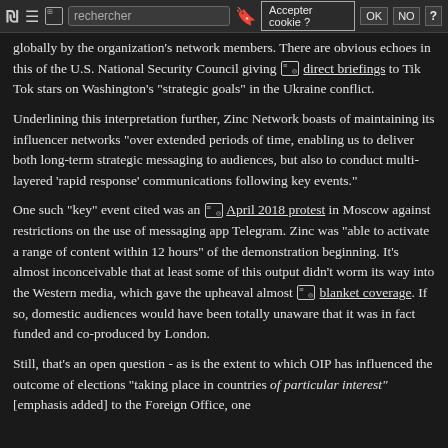Toolbar: rechercher | Accepter cookie? | OK | NO | ?
globally by the organization's network members. There are obvious echoes in this of the U.S. National Security Council giving [icon] direct briefings to Tik Tok stars on Washington's "strategic goals" in the Ukraine conflict.
Underlining this interpretation further, Zinc Network boasts of maintaining its influencer networks "over extended periods of time, enabling us to deliver both long-term strategic messaging to audiences, but also to conduct multi-layered 'rapid response' communications following key events."
One such "key" event cited was an [icon] April 2018 protest in Moscow against restrictions on the use of messaging app Telegram. Zinc was "able to activate a range of content within 12 hours" of the demonstration beginning. It's almost inconceivable that at least some of this output didn't worm its way into the Western media, which gave the upheaval almost [icon] blanket coverage. If so, domestic audiences would have been totally unaware that it was in fact funded and co-produced by London.
Still, that's an open question - as is the extent to which OIP has influenced the outcome of elections "taking place in countries of particular interest" [emphasis added] to the Foreign Office, one